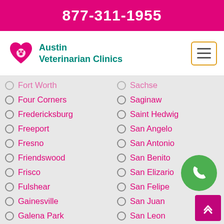877-311-1955
[Figure (logo): Austin Veterinarian Clinics logo with heart and paw icon]
Fort Worth (partial)
Garland (partial, right col)
Four Corners
Saginaw
Fredericksburg
Saint Hedwig
Freeport
San Angelo
Fresno
San Antonio
Friendswood
San Benito
Frisco
San Elizario
Fulshear
San Felipe
Gainesville
San Juan
Galena Park
San Leon
Galveston
San Marcos
Garland
Sanger
Gatesville (partial)
Sansom Park (partial)